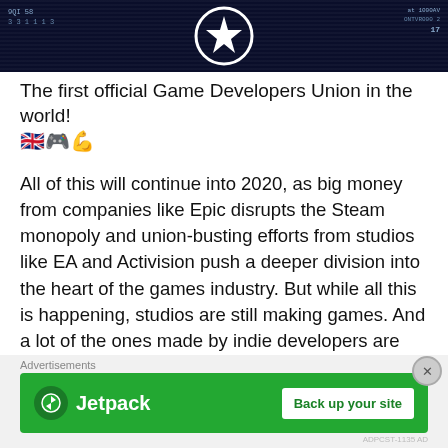[Figure (screenshot): Dark blue/navy banner image showing a game developers union logo (star emblem) with binary/code text on left and stats on right]
The first official Game Developers Union in the world! 🇬🇧🎮💪
All of this will continue into 2020, as big money from companies like Epic disrupts the Steam monopoly and union-busting efforts from studios like EA and Activision push a deeper division into the heart of the games industry. But while all this is happening, studios are still making games. And a lot of the ones made by indie developers are actually good!
So through all the muck and drama of the past year, I want to highlight the top-notch games I got a chance
Advertisements
[Figure (screenshot): Jetpack advertisement banner — green background with Jetpack logo on left and 'Back up your site' white button on right]